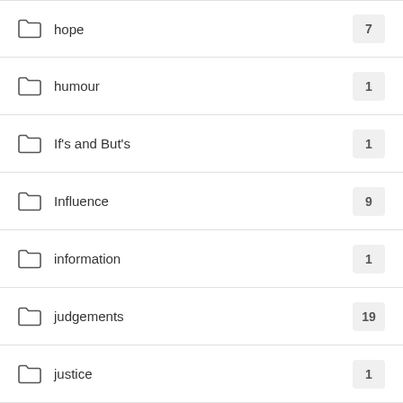hope — 7
humour — 1
If's and But's — 1
Influence — 9
information — 1
judgements — 19
justice — 1
Learn — 9